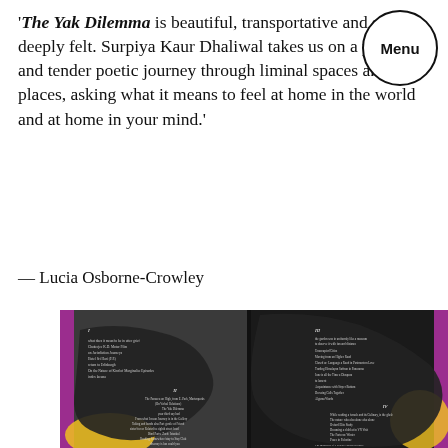'The Yak Dilemma is beautiful, transportative and so deeply felt. Surpiya Kaur Dhaliwal takes us on a powerful and tender poetic journey through liminal spaces and places, asking what it means to feel at home in the world and at home in your mind.' — Lucia Osborne-Crowley
[Figure (photo): An open book showing a table of contents spread across two pages with a dark background and decorative purple/yellow design elements. The left page shows section I and II listings, the right page shows sections III and IV.]